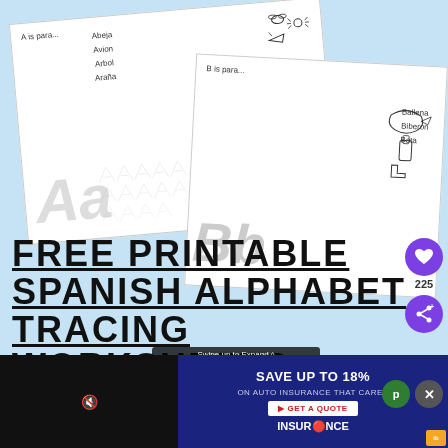[Figure (illustration): Two Spanish alphabet tracing worksheets shown at angles. Left worksheet shows 'A is para...' with words Abeja, Avion, Arbol, Araña and large 'Aa' letters with tracing lines. Right worksheet shows 'B is para...' with words Ballena, Biberon, Bota and large 'Bb' letters with tracing lines.]
FREE PRINTABLE SPANISH ALPHABET TRACING WORKSHEETS
[Figure (screenshot): Insurance advertisement banner: 'SAVE UP TO 18% ON AUTO INSURANCE THAT CARES' with GET A QUOTE button and INSURANCE brand logo]